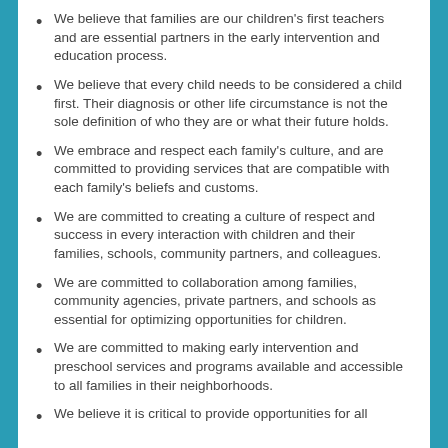We believe that families are our children's first teachers and are essential partners in the early intervention and education process.
We believe that every child needs to be considered a child first. Their diagnosis or other life circumstance is not the sole definition of who they are or what their future holds.
We embrace and respect each family's culture, and are committed to providing services that are compatible with each family's beliefs and customs.
We are committed to creating a culture of respect and success in every interaction with children and their families, schools, community partners, and colleagues.
We are committed to collaboration among families, community agencies, private partners, and schools as essential for optimizing opportunities for children.
We are committed to making early intervention and preschool services and programs available and accessible to all families in their neighborhoods.
We believe it is critical to provide opportunities for all